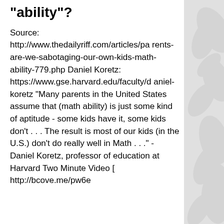"ability"?
Source: http://www.thedailyriff.com/articles/parents-are-we-sabotaging-our-own-kids-math-ability-779.php Daniel Koretz: https://www.gse.harvard.edu/faculty/daniel-koretz "Many parents in the United States assume that (math ability) is just some kind of aptitude - some kids have it, some kids don't . . . The result is most of our kids (in the U.S.) don't do really well in Math . . ." - Daniel Koretz, professor of education at Harvard Two Minute Video [ http://bcove.me/pw6e